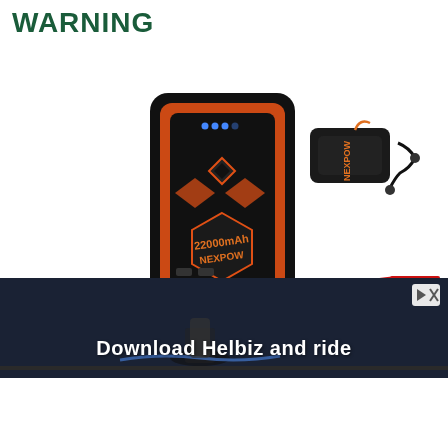WARNING
[Figure (photo): NEXPOW 22000mAh portable car jump starter device shown in black and orange color, with jumper cables attached and accessories including a carrying case and cable. Battery clamps (red and black) visible at the bottom.]
[Figure (photo): Helbiz advertisement overlay showing a scooter/bike scene with text 'Download Helbiz and ride' in white bold text on a dark background.]